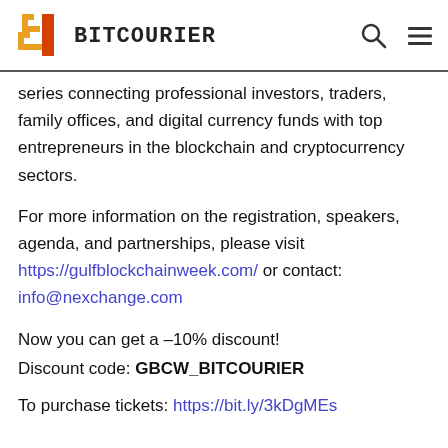BITCOURIER
series connecting professional investors, traders, family offices, and digital currency funds with top entrepreneurs in the blockchain and cryptocurrency sectors.
For more information on the registration, speakers, agenda, and partnerships, please visit https://gulfblockchainweek.com/ or contact: info@nexchange.com
Now you can get a -10% discount! Discount code: GBCW_BITCOURIER
To purchase tickets: https://bit.ly/3kDgMEs